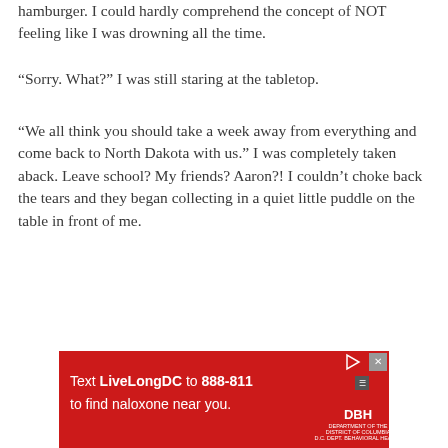hamburger. I could hardly comprehend the concept of NOT feeling like I was drowning all the time.
“Sorry. What?” I was still staring at the tabletop.
“We all think you should take a week away from everything and come back to North Dakota with us.” I was completely taken aback. Leave school? My friends? Aaron?! I couldn’t choke back the tears and they began collecting in a quiet little puddle on the table in front of me.
[Figure (other): Red advertisement banner: 'Text LiveLongDC to 888-811 to find naloxone near you.' with DBH logo and close/play buttons.]